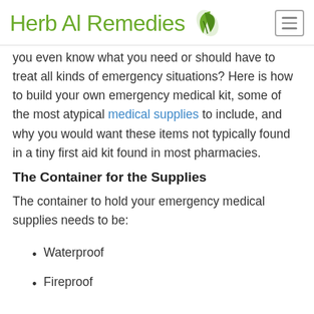Herb Al Remedies
you even know what you need or should have to treat all kinds of emergency situations? Here is how to build your own emergency medical kit, some of the most atypical medical supplies to include, and why you would want these items not typically found in a tiny first aid kit found in most pharmacies.
The Container for the Supplies
The container to hold your emergency medical supplies needs to be:
Waterproof
Fireproof